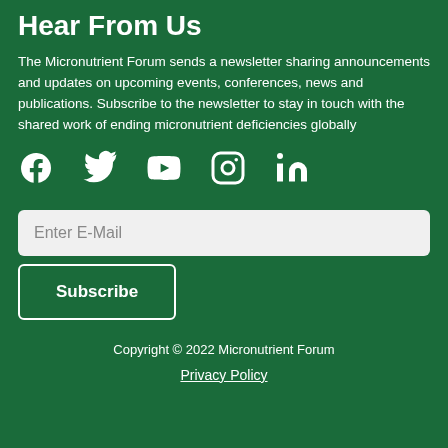Hear From Us
The Micronutrient Forum sends a newsletter sharing announcements and updates on upcoming events, conferences, news and publications. Subscribe to the newsletter to stay in touch with the shared work of ending micronutrient deficiencies globally
[Figure (infographic): Row of five social media icons: Facebook, Twitter, YouTube, Instagram, LinkedIn]
Enter E-Mail
Subscribe
Copyright © 2022 Micronutrient Forum
Privacy Policy